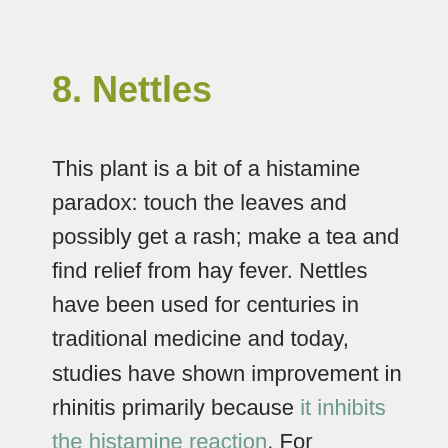8. Nettles
This plant is a bit of a histamine paradox: touch the leaves and possibly get a rash; make a tea and find relief from hay fever. Nettles have been used for centuries in traditional medicine and today, studies have shown improvement in rhinitis primarily because it inhibits the histamine reaction. For supplements, we recommend Oregon's Wild Harvest and Solaray for their quality sourcing. As a